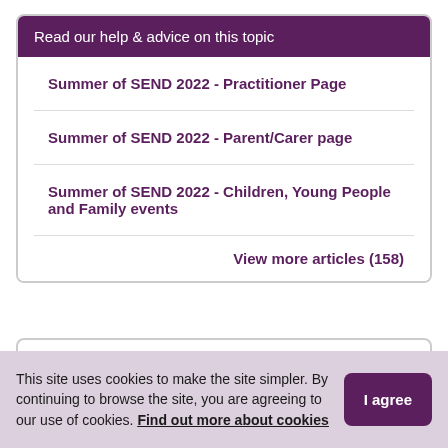Read our help & advice on this topic
Summer of SEND 2022 - Practitioner Page
Summer of SEND 2022 - Parent/Carer page
Summer of SEND 2022 - Children, Young People and Family events
View more articles (158)
Sorted by:
This site uses cookies to make the site simpler. By continuing to browse the site, you are agreeing to our use of cookies. Find out more about cookies